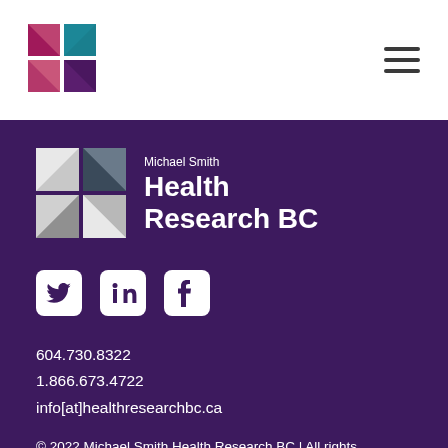[Figure (logo): Michael Smith Health Research BC logo (small, coloured squares mosaic) in white header navigation bar]
[Figure (other): Hamburger menu icon (three horizontal lines) in top right of white header bar]
[Figure (logo): Michael Smith Health Research BC logo (large, grey mosaic squares) on dark purple background]
Michael Smith Health Research BC
[Figure (other): Social media icons: Twitter, LinkedIn, Facebook on dark purple background]
604.730.8322
1.866.673.4722
info[at]healthresearchbc.ca
© 2022 Michael Smith Health Research BC | All rights reserved